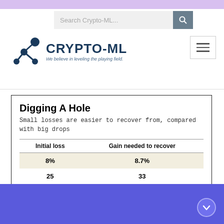Search Crypto-ML...
[Figure (logo): Crypto-ML logo with network graph icon and tagline: We believe in leveling the playing field.]
Digging A Hole
Small losses are easier to recover from, compared with big drops
| Initial loss | Gain needed to recover |
| --- | --- |
| 8% | 8.7% |
| 25 | 33 |